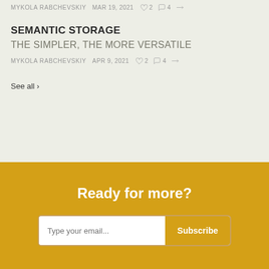MYKOLA RABCHEVSKIY   MAR 19, 2021   ♡ 2   ⌂ 4   ↗
SEMANTIC STORAGE
THE SIMPLER, THE MORE VERSATILE
MYKOLA RABCHEVSKIY   APR 9, 2021   ♡ 2   ⌂ 4   ↗
See all ›
Ready for more?
Type your email... Subscribe